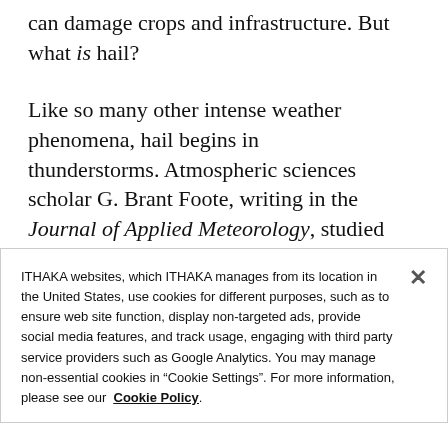can damage crops and infrastructure. But what is hail?
Like so many other intense weather phenomena, hail begins in thunderstorms. Atmospheric sciences scholar G. Brant Foote, writing in the Journal of Applied Meteorology, studied a particular storm in depth and described some of the conditions required for its formation.
ITHAKA websites, which ITHAKA manages from its location in the United States, use cookies for different purposes, such as to ensure web site function, display non-targeted ads, provide social media features, and track usage, engaging with third party service providers such as Google Analytics. You may manage non-essential cookies in “Cookie Settings”. For more information, please see our Cookie Policy.